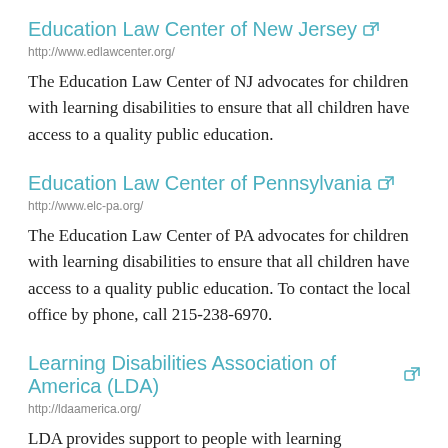Education Law Center of New Jersey
http://www.edlawcenter.org/
The Education Law Center of NJ advocates for children with learning disabilities to ensure that all children have access to a quality public education.
Education Law Center of Pennsylvania
http://www.elc-pa.org/
The Education Law Center of PA advocates for children with learning disabilities to ensure that all children have access to a quality public education. To contact the local office by phone, call 215-238-6970.
Learning Disabilities Association of America (LDA)
http://ldaamerica.org/
LDA provides support to people with learning disabilities, their parents, teachers and other professionals.